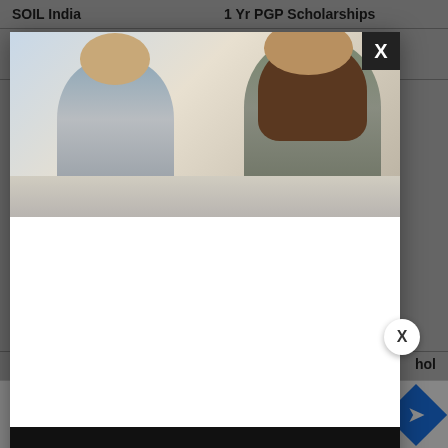SOIL India
1 Yr PGP Scholarships
UK DFID
Commonwealth Master's
[Figure (photo): Modal dialog overlay showing a photo of two women appearing to work at a computer, with a white content area below and a video error message panel reading 'The media could not be loaded, either because the server or network failed or because the format is not supported.' on a black background. A close button (X) appears in the top-right corner of the modal.]
The media could not be loaded, either because the server or network failed or because the format is not supported.
TGBA
Mp
hol
[Figure (other): CarMax advertisement bar at the bottom showing the CarMax logo, play button, brand name 'CarMax', location 'Sterling', hours 'OPEN 10AM-9PM', and a blue diamond navigation icon.]